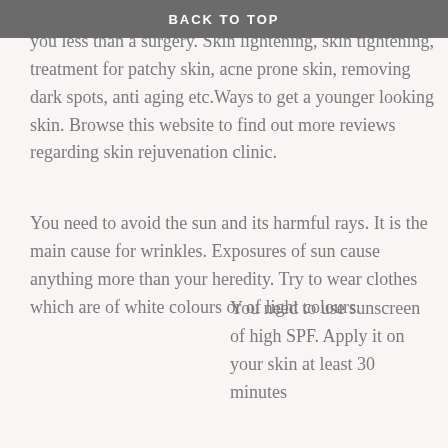BACK TO TOP
treatments that they offer. These treatments will cost you less than a surgery. Skin lightening, skin tightening, treatment for patchy skin, acne prone skin, removing dark spots, anti aging etc.Ways to get a younger looking skin. Browse this website to find out more reviews regarding skin rejuvenation clinic.
You need to avoid the sun and its harmful rays. It is the main cause for wrinkles. Exposures of sun cause anything more than your heredity. Try to wear clothes which are of white colours or of light colours.
You need to use sunscreen of high SPF. Apply it on your skin at least 30 minutes